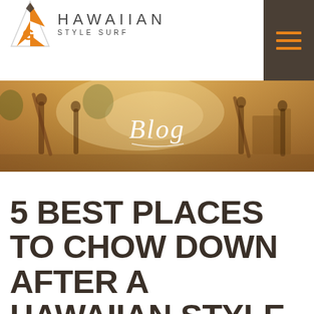[Figure (logo): Hawaiian Style Surf logo — orange geometric wave/shark fin icon with brand name and tagline]
[Figure (photo): Blog banner image showing silhouettes of people with surfboards on a beach, with warm golden/orange overlay. The word 'Blog' is written in white cursive script in the center.]
5 BEST PLACES TO CHOW DOWN AFTER A HAWAIIAN STYLE SURF LESSON: KIHEI